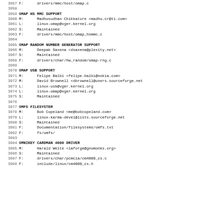3957 F:      drivers/mmc/host/omap.c
3958
3959 OMAP HS MMC SUPPORT
3960 M:      Madhusudhan Chikkature <madhu.cr@ti.com>
3961 L:      linux-omap@vger.kernel.org
3962 S:      Maintained
3963 F:      drivers/mmc/host/omap_hsmmc.c
3964
3965 OMAP RANDOM NUMBER GENERATOR SUPPORT
3966 M:      Deepak Saxena <dsaxena@plexity.net>
3967 S:      Maintained
3968 F:      drivers/char/hw_random/omap-rng.c
3969
3970 OMAP USB SUPPORT
3971 M:      Felipe Balbi <felipe.balbi@nokia.com>
3972 M:      David Brownell <dbrownell@users.sourceforge.net
3973 L:      linux-usb@vger.kernel.org
3974 L:      linux-omap@vger.kernel.org
3975 S:      Maintained
3976
3977 OMFS FILESYSTEM
3978 M:      Bob Copeland <me@bobcopeland.com>
3979 L:      linux-karma-devel@lists.sourceforge.net
3980 S:      Maintained
3981 F:      Documentation/filesystems/omfs.txt
3982 F:      fs/omfs/
3983
3984 OMNIKEY CARDMAN 4000 DRIVER
3985 M:      Harald Welte <laforge@gnumonks.org>
3986 S:      Maintained
3987 F:      drivers/char/pcmcia/cm4000_cs.c
3988 F:      include/linux/cm4000_cs.h